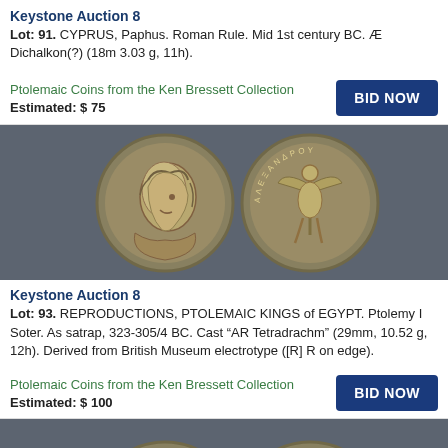Keystone Auction 8
Lot: 91. CYPRUS, Paphus. Roman Rule. Mid 1st century BC. Æ Dichalkon(?) (18m 3.03 g, 11h).
Ptolemaic Coins from the Ken Bressett Collection
Estimated: $ 75
[Figure (photo): Auction lot photo showing two ancient silver coins side by side on a dark gray background. Left coin shows a portrait bust facing right, right coin shows a standing figure with wings.]
Keystone Auction 8
Lot: 93. REPRODUCTIONS, PTOLEMAIC KINGS of EGYPT. Ptolemy I Soter. As satrap, 323-305/4 BC. Cast "AR Tetradrachm" (29mm, 10.52 g, 12h). Derived from British Museum electrotype ([R] R on edge).
Ptolemaic Coins from the Ken Bressett Collection
Estimated: $ 100
[Figure (photo): Partial auction lot photo showing two ancient coins on a dark gray background, cropped at bottom of page.]